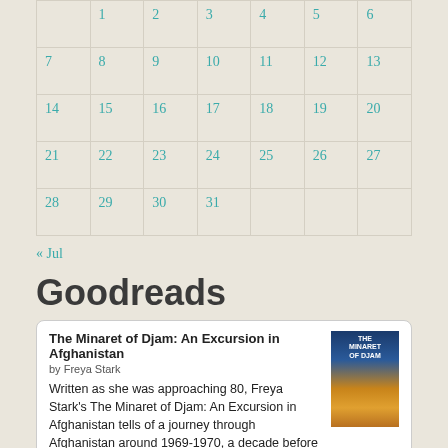| 1 | 2 | 3 | 4 | 5 | 6 |
| 7 | 8 | 9 | 10 | 11 | 12 | 13 |
| 14 | 15 | 16 | 17 | 18 | 19 | 20 |
| 21 | 22 | 23 | 24 | 25 | 26 | 27 |
| 28 | 29 | 30 | 31 |  |  |  |
« Jul
Goodreads
The Minaret of Djam: An Excursion in Afghanistan
by Freya Stark
Written as she was approaching 80, Freya Stark's The Minaret of Djam: An Excursion in Afghanistan tells of a journey through Afghanistan around 1969-1970, a decade before the Russian-Afghan War. Her travels occurred during one of those r...
The Golden Gizmo
by Jim Thompson